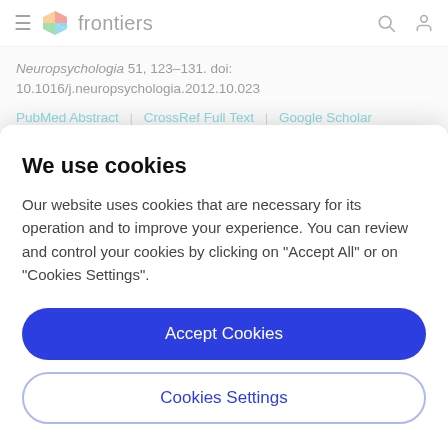frontiers
Neuropsychologia 51, 123–131. doi: 10.1016/j.neuropsychologia.2012.10.023
PubMed Abstract | CrossRef Full Text | Google Scholar
Behrens, T. E. J., Woolrich, M. W., Jenkinson, M., Johansen-Berg,
We use cookies
Our website uses cookies that are necessary for its operation and to improve your experience. You can review and control your cookies by clicking on "Accept All" or on "Cookies Settings".
Accept Cookies
Cookies Settings